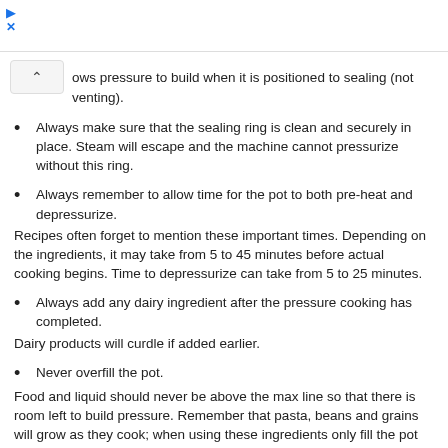[Ad icon / close button UI elements]
ows pressure to build when it is positioned to sealing (not venting).
Always make sure that the sealing ring is clean and securely in place. Steam will escape and the machine cannot pressurize without this ring.
Always remember to allow time for the pot to both pre-heat and depressurize.
Recipes often forget to mention these important times. Depending on the ingredients, it may take from 5 to 45 minutes before actual cooking begins. Time to depressurize can take from 5 to 25 minutes.
Always add any dairy ingredient after the pressure cooking has completed.
Dairy products will curdle if added earlier.
Never overfill the pot.
Food and liquid should never be above the max line so that there is room left to build pressure. Remember that pasta, beans and grains will grow as they cook; when using these ingredients only fill the pot halfway to the max line.